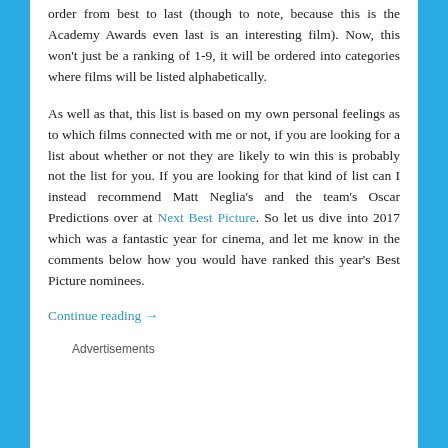order from best to last (though to note, because this is the Academy Awards even last is an interesting film). Now, this won't just be a ranking of 1-9, it will be ordered into categories where films will be listed alphabetically.
As well as that, this list is based on my own personal feelings as to which films connected with me or not, if you are looking for a list about whether or not they are likely to win this is probably not the list for you. If you are looking for that kind of list can I instead recommend Matt Neglia's and the team's Oscar Predictions over at Next Best Picture. So let us dive into 2017 which was a fantastic year for cinema, and let me know in the comments below how you would have ranked this year's Best Picture nominees.
Continue reading →
Advertisements